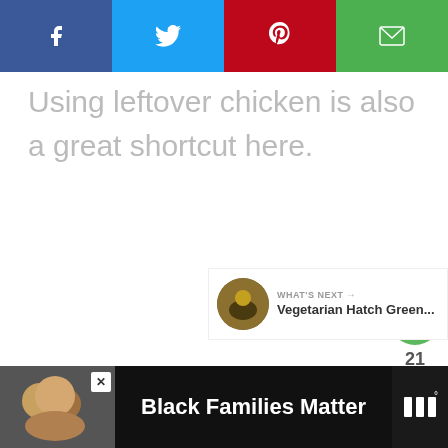[Figure (screenshot): Social media share bar with Facebook (blue), Twitter (light blue), Pinterest (red), and Email (green) buttons]
Using leftover chicken is also a great shortcut here.
[Figure (infographic): Heart/like button showing 21 likes and a share button below it]
[Figure (infographic): What's Next panel showing Vegetarian Hatch Green... with a thumbnail photo]
[Figure (screenshot): Advertisement bar: Black Families Matter with a photo of smiling family and a close button]